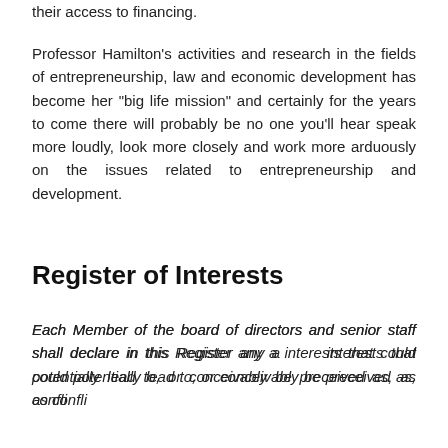their access to financing.
Professor Hamilton’s activities and research in the fields of entrepreneurship, law and economic development has become her “big life mission” and certainly for the years to come there will probably be no one you’ll hear speak more loudly, look more closely and work more arduously on the issues related to entrepreneurship and development.
Register of Interests
Each Member of the board of directors and senior staff shall declare in this Register any and all interests that could potentially lead to, or conceivably be preceived as, as conflict of